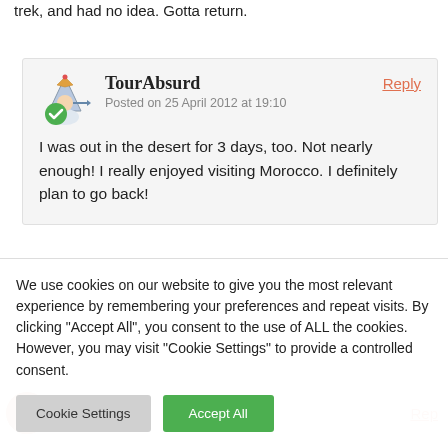Fascinating. Passed through Nssouri on a three-day Sahara trek, and had no idea. Gotta return.
TourAbsurd
Posted on 25 April 2012 at 19:10
I was out in the desert for 3 days, too. Not nearly enough! I really enjoyed visiting Morocco. I definitely plan to go back!
We use cookies on our website to give you the most relevant experience by remembering your preferences and repeat visits. By clicking "Accept All", you consent to the use of ALL the cookies. However, you may visit "Cookie Settings" to provide a controlled consent.